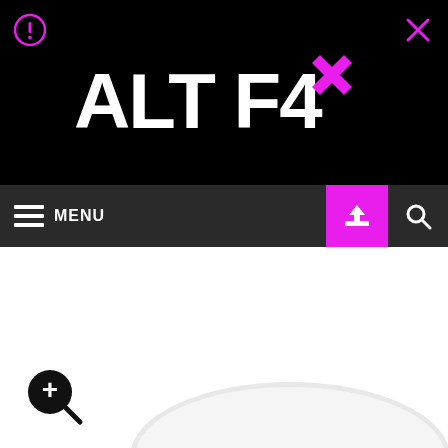[Figure (logo): ALT F4 logo with magenta X on black background]
[Figure (infographic): Navigation bar with hamburger menu (MENU), magenta cart icon, and search icon]
4K Hikvision DS-2CD2786G2-IZS, Pro EasyIP 4.0 Outdoor PoE Dome IPCam with Motori
[Figure (photo): Dome IP camera product image with zoom/magnify button overlay]